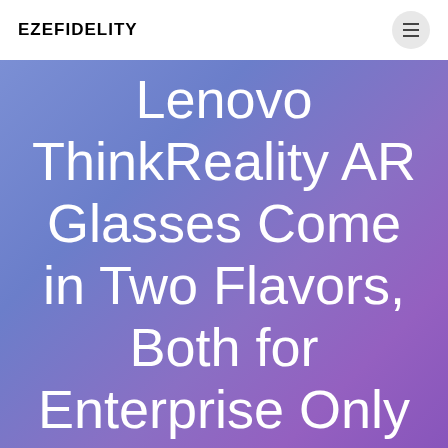EZEFIDELITY
Lenovo ThinkReality AR Glasses Come in Two Flavors, Both for Enterprise Only